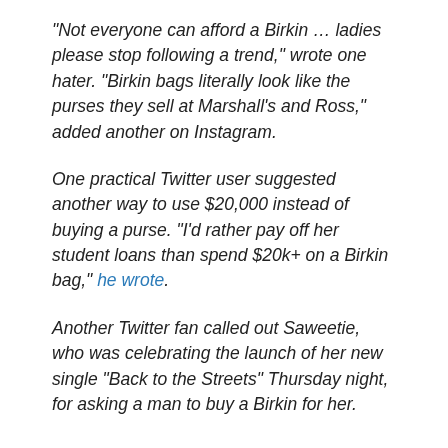“Not everyone can afford a Birkin … ladies please stop following a trend,” wrote one hater. “Birkin bags literally look like the purses they sell at Marshall’s and Ross,” added another on Instagram.
One practical Twitter user suggested another way to use $20,000 instead of buying a purse. “I’d rather pay off her student loans than spend $20k+ on a Birkin bag,” he wrote.
Another Twitter fan called out Saweetie, who was celebrating the launch of her new single “Back to the Streets” Thursday night, for asking a man to buy a Birkin for her.